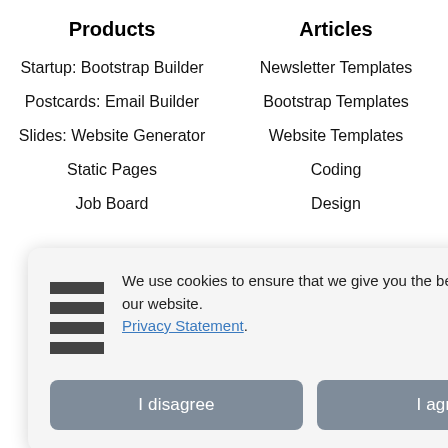Products
Articles
Startup: Bootstrap Builder
Newsletter Templates
Postcards: Email Builder
Bootstrap Templates
Slides: Website Generator
Website Templates
Static Pages
Coding
Job Board
Design
[Figure (screenshot): Cookie consent popup with hamburger icon, message 'We use cookies to ensure that we give you the best experience on our website. Privacy Statement.' and two buttons: 'I disagree' and 'I agree'. A close (X) button is in the top right corner.]
Contact Us
Facebook